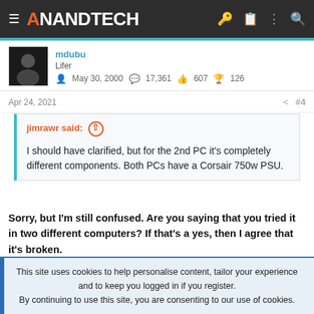AnandTech
mdubu
Lifer
May 30, 2000  17,361  607  126
Apr 24, 2021  #4
jimrawr said: ↑
I should have clarified, but for the 2nd PC it's completely different components. Both PCs have a Corsair 750w PSU.
Sorry, but I'm still confused. Are you saying that you tried it in two different computers? If that's a yes, then I agree that it's broken.
This site uses cookies to help personalise content, tailor your experience and to keep you logged in if you register.
By continuing to use this site, you are consenting to our use of cookies.